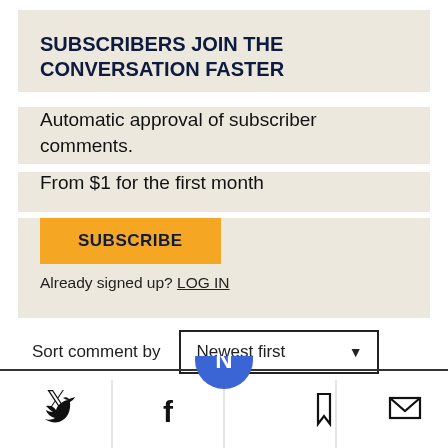SUBSCRIBERS JOIN THE CONVERSATION FASTER
Automatic approval of subscriber comments.
From $1 for the first month
SUBSCRIBE
Already signed up? LOG IN
Sort comment by  Newest first
[Figure (other): Footer navigation bar with Twitter, Facebook, newsletter logo (blue circle with N), bookmark, and email icons separated by vertical dividers]